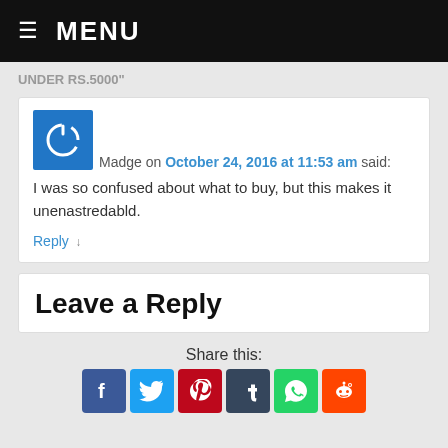≡ MENU
UNDER RS.5000"
Madge on October 24, 2016 at 11:53 am said: I was so confused about what to buy, but this makes it unenastredabld.
Reply ↓
Leave a Reply
Share this: